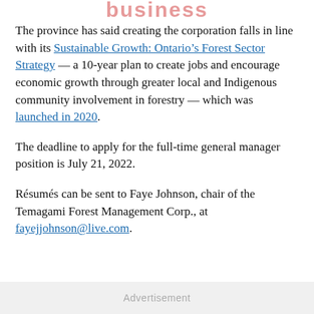Business
The province has said creating the corporation falls in line with its Sustainable Growth: Ontario’s Forest Sector Strategy — a 10-year plan to create jobs and encourage economic growth through greater local and Indigenous community involvement in forestry — which was launched in 2020.
The deadline to apply for the full-time general manager position is July 21, 2022.
Résumés can be sent to Faye Johnson, chair of the Temagami Forest Management Corp., at fayejjohnson@live.com.
Advertisement